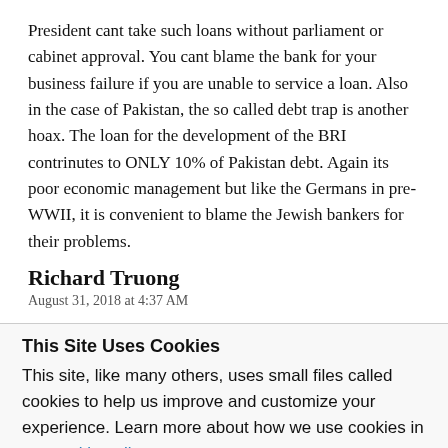President cant take such loans without parliament or cabinet approval. You cant blame the bank for your business failure if you are unable to service a loan. Also in the case of Pakistan, the so called debt trap is another hoax. The loan for the development of the BRI contrinutes to ONLY 10% of Pakistan debt. Again its poor economic management but like the Germans in pre-WWII, it is convenient to blame the Jewish bankers for their problems.
Richard Truong
August 31, 2018 at 4:37 AM
This Site Uses Cookies
This site, like many others, uses small files called cookies to help us improve and customize your experience. Learn more about how we use cookies in our cookie policy.
Learn more about cookies
OK